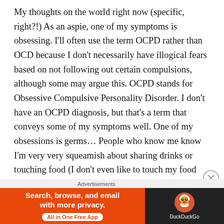My thoughts on the world right now (specific, right?!) As an aspie, one of my symptoms is obsessing. I'll often use the term OCPD rather than OCD because I don't necessarily have illogical fears based on not following out certain compulsions, although some may argue this. OCPD stands for Obsessive Compulsive Personality Disorder. I don't have an OCPD diagnosis, but that's a term that conveys some of my symptoms well. One of my obsessions is germs… People who know me know I'm very very squeamish about sharing drinks or touching food (I don't even like to touch my food myself, let alone have other people touch it!). As you can imagine, this has increased quite dramatically given the pandemic. My
Advertisements
[Figure (infographic): DuckDuckGo advertisement banner with orange left panel reading 'Search, browse, and email with more privacy. All in One Free App' and dark right panel with DuckDuckGo duck logo and brand name.]